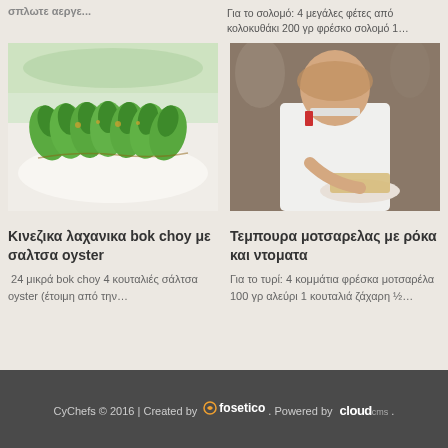Για το σολομό: 4 μεγάλες φέτες από κολοκυθάκι 200 γρ φρέσκο σολομό 1…
[Figure (photo): Green bok choy vegetables on a white plate]
[Figure (photo): Chef in white uniform plating food]
Κινεζικα λαχανικα bok choy με σαλτσα oyster
Τεμπουρα μοτσαρελας με ρόκα και ντοματα
24 μικρά bok choy 4 κουταλιές σάλτσα oyster (έτοιμη από την…
Για το τυρί: 4 κομμάτια φρέσκα μοτσαρέλα 100 γρ αλεύρι 1 κουταλιά ζάχαρη ½…
CyChefs © 2016 | Created by fosetico. Powered by cloudcms.